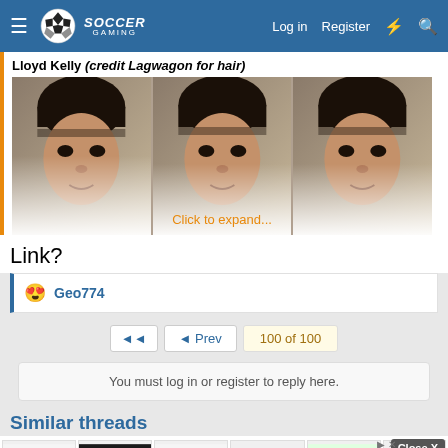Soccer Gaming — Log in  Register
Lloyd Kelly (credit Lagwagon for hair)
[Figure (photo): Three side-by-side renders of Lloyd Kelly's face from a soccer video game, showing curly black hair with a fade cut. The bottom portion fades to white. Text overlay reads 'Click to expand...']
Link?
😍 Geo774
◄  ◄ Prev  100 of 100
You must log in or register to reply here.
Similar threads
[Figure (photo): Advertisement banner showing power tool batteries and other products, with ebay logo, and a Close X button overlay.]
F...